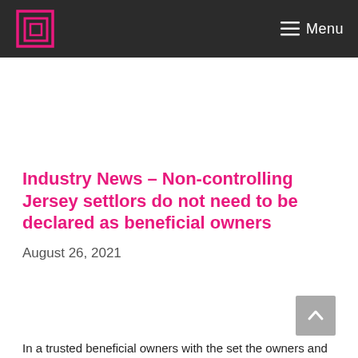Menu
Industry News – Non-controlling Jersey settlors do not need to be declared as beneficial owners
August 26, 2021